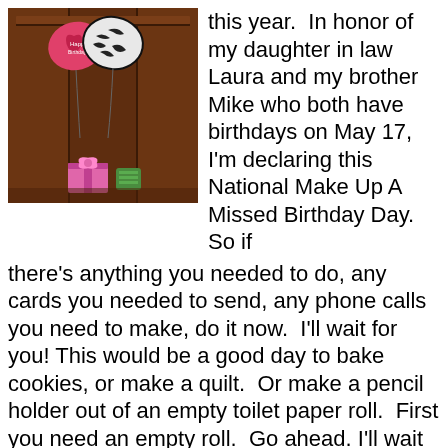[Figure (photo): A photo of birthday balloons (pink and zebra-print heart-shaped balloons) in front of dark wood paneling, with a small green gift on a surface below.]
this year.  In honor of my daughter in law Laura and my brother Mike who both have birthdays on May 17, I'm declaring this National Make Up A Missed Birthday Day.  So if there's anything you needed to do, any cards you needed to send, any phone calls you need to make, do it now.  I'll wait for you! This would be a good day to bake cookies, or make a quilt.  Or make a pencil holder out of an empty toilet paper roll.  First you need an empty roll.  Go ahead. I'll wait for you.  The important thing is a note, though.  Do it on Facebook. No use calling.  Nobody answers the phone. And hey, in case I missed your birthday.  Happy